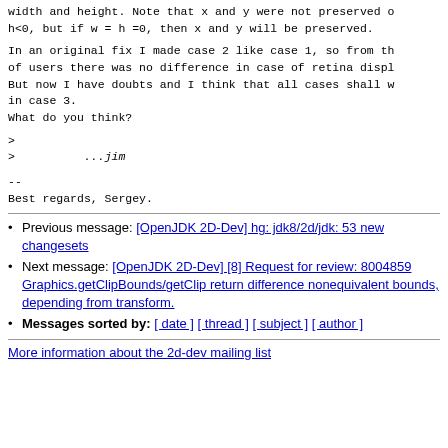width and height. Note that x and y were not preserved on h<0, but if w = h =0, then x and y will be preserved.
In an original fix I made case 2 like case 1, so from the of users there was no difference in case of retina displa. But now I have doubts and I think that all cases shall wo in case 3.
What do you think?
>
>        ...jim
--
Best regards, Sergey.
Previous message: [OpenJDK 2D-Dev] hg: jdk8/2d/jdk: 53 new changesets
Next message: [OpenJDK 2D-Dev] [8] Request for review: 8004859 Graphics.getClipBounds/getClip return difference nonequivalent bounds, depending from transform.
Messages sorted by: [ date ] [ thread ] [ subject ] [ author ]
More information about the 2d-dev mailing list